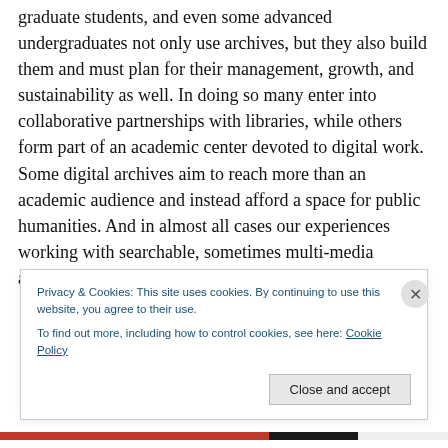graduate students, and even some advanced undergraduates not only use archives, but they also build them and must plan for their management, growth, and sustainability as well. In doing so many enter into collaborative partnerships with libraries, while others form part of an academic center devoted to digital work. Some digital archives aim to reach more than an academic audience and instead afford a space for public humanities. And in almost all cases our experiences working with searchable, sometimes multi-media archives cannot help
Privacy & Cookies: This site uses cookies. By continuing to use this website, you agree to their use.
To find out more, including how to control cookies, see here: Cookie Policy
Close and accept